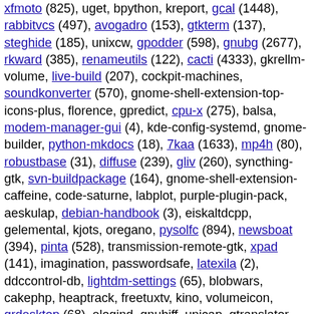xfmoto (825), uget, bpython, kreport, gcal (1448), rabbitvcs (497), avogadro (153), gtkterm (137), steghide (185), unixcw, gpodder (598), gnubg (2677), rkward (385), renameutils (122), cacti (4333), gkrellm-volume, live-build (207), cockpit-machines, soundkonverter (570), gnome-shell-extension-top-icons-plus, florence, gpredict, cpu-x (275), balsa, modem-manager-gui (4), kde-config-systemd, gnome-builder, python-mkdocs (18), 7kaa (1633), mp4h (80), robustbase (31), diffuse (239), gliv (260), syncthing-gtk, svn-buildpackage (164), gnome-shell-extension-caffeine, code-saturne, labplot, purple-plugin-pack, aeskulap, debian-handbook (3), eiskaltdcpp, gelemental, kjots, oregano, pysolfc (894), newsboat (394), pinta (528), transmission-remote-gtk, xpad (141), imagination, passwordsafe, latexila (2), ddccontrol-db, lightdm-settings (65), blobwars, cakephp, heaptrack, freetuxtv, kino, volumeicon, grdesktop (68), elogind, gnubiff, unicap, gtranslator, gpaint (106), numdiff (162), gbrainy, solvespace (403), rush (178), pcsxr (741), plymouth-kcm, po4a (242), zeroinstall-